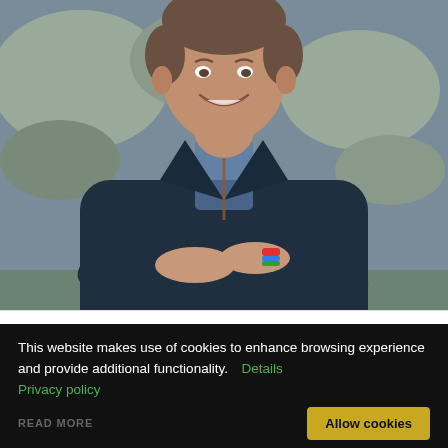[Figure (photo): Portrait photo of a man in a dark navy jacket with arms crossed, smiling, with rocky natural background. He is wearing a colorful bracelet on his wrist.]
This website makes use of cookies to enhance browsing experience and provide additional functionality. Details Privacy policy
READ MORE
Allow cookies